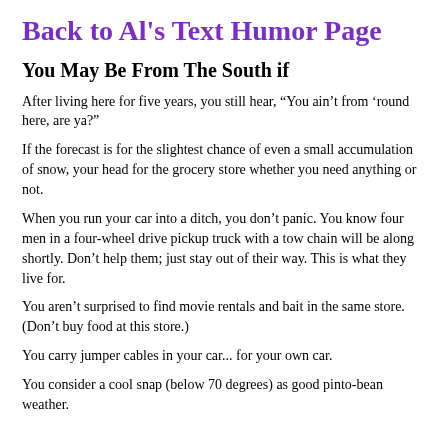Back to Al's Text Humor Page
You May Be From The South if
After living here for five years, you still hear, “You ain’t from ‘round here, are ya?”
If the forecast is for the slightest chance of even a small accumulation of snow, your head for the grocery store whether you need anything or not.
When you run your car into a ditch, you don’t panic. You know four men in a four-wheel drive pickup truck with a tow chain will be along shortly. Don’t help them; just stay out of their way. This is what they live for.
You aren’t surprised to find movie rentals and bait in the same store. (Don’t buy food at this store.)
You carry jumper cables in your car... for your own car.
You consider a cool snap (below 70 degrees) as good pinto-bean weather.